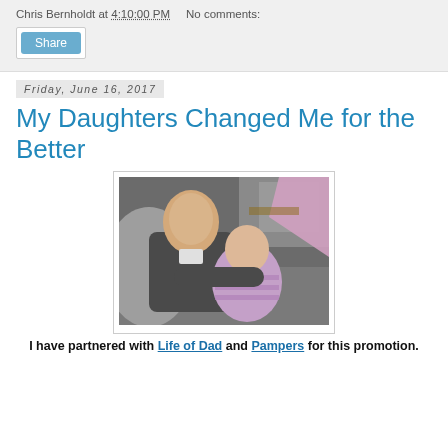Chris Bernholdt at 4:10:00 PM    No comments:
Share
Friday, June 16, 2017
My Daughters Changed Me for the Better
[Figure (photo): A man smiling holding a baby in a purple onesie that reads 'I Love Daddy']
I have partnered with Life of Dad and Pampers for this promotion.